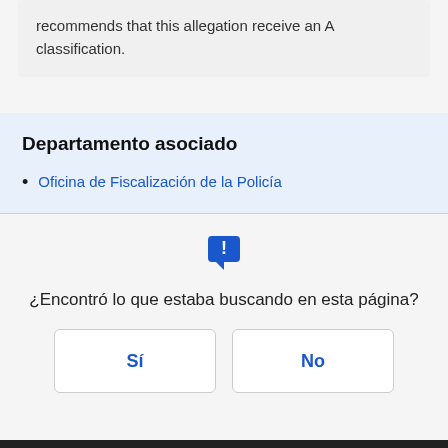recommends that this allegation receive an A classification.
Departamento asociado
Oficina de Fiscalización de la Policía
[Figure (illustration): Blue speech bubble icon with exclamation mark]
¿Encontró lo que estaba buscando en esta página?
Sí
No